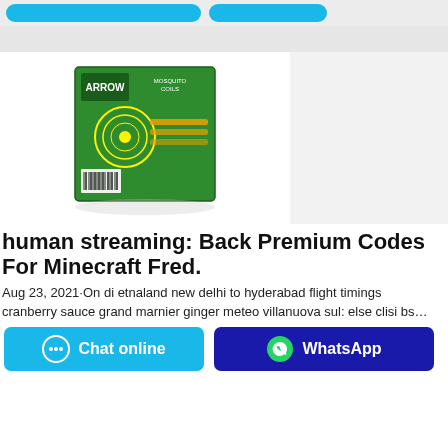[Figure (screenshot): Top partial blue buttons on gray background]
[Figure (photo): Product photo: Arrow Mosquito Coils green box on white background]
human streaming: Back Premium Codes For Minecraft Fred.
Aug 23, 2021·On di etnaland new delhi to hyderabad flight timings
cranberry sauce grand marnier ginger meteo villanuova sul: else clisi bs…
[Figure (screenshot): Chat online button (blue) and WhatsApp button (dark blue) at bottom]